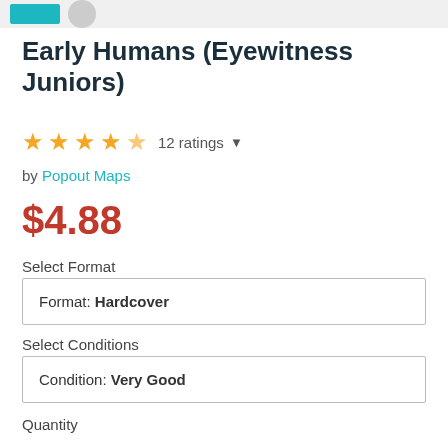Early Humans (Eyewitness Juniors)
★★★★½  12 ratings
by Popout Maps
$4.88
Select Format
Format: Hardcover
Select Conditions
Condition: Very Good
Quantity
1